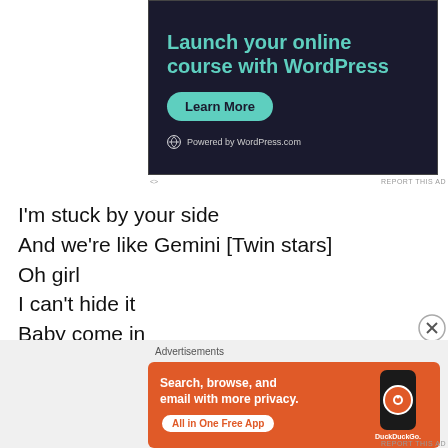[Figure (screenshot): WordPress.com advertisement banner with dark background showing 'Launch your online course with WordPress' text in teal, a green 'Learn More' button, and WordPress.com powered logo]
REPORT THIS AD
I'm stuck by your side
And we're like Gemini [Twin stars]
Oh girl
I can't hide it
Baby come in
[Figure (screenshot): DuckDuckGo advertisement on orange background: 'Search, browse, and email with more privacy. All in One Free App' with a phone showing DuckDuckGo logo]
REPORT THIS AD